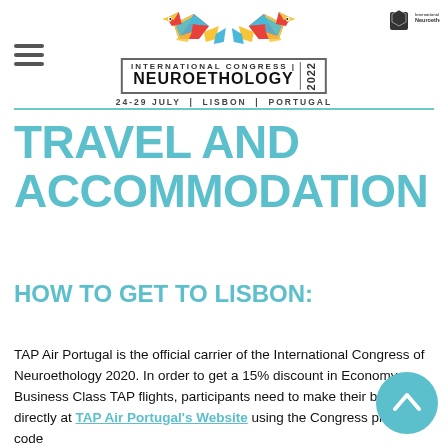INTERNATIONAL CONGRESS NEUROETHOLOGY 2022 | 24-29 JULY | LISBON | PORTUGAL
TRAVEL AND ACCOMMODATION
HOW TO GET TO LISBON:
TAP Air Portugal is the official carrier of the International Congress of Neuroethology 2020. In order to get a 15% discount in Economy or Business Class TAP flights, participants need to make their booking directly at TAP Air Portugal's Website using the Congress promotion code